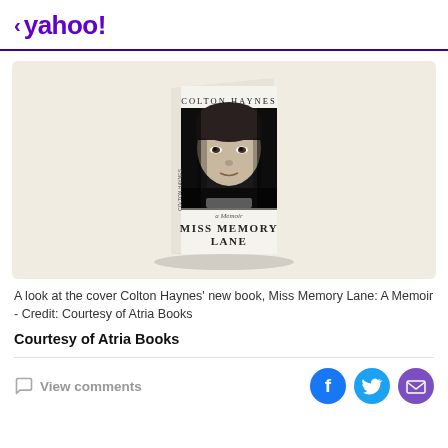< yahoo!
[Figure (illustration): Book cover of 'Miss Memory Lane: A Memoir' by Colton Haynes, showing a black-and-white close-up photo of a young man's face on the cover, displayed as a 3D standing book on a cream/beige background.]
A look at the cover Colton Haynes' new book, Miss Memory Lane: A Memoir - Credit: Courtesy of Atria Books
Courtesy of Atria Books
View comments
[Figure (infographic): Social sharing icons: Facebook (blue circle with f), Twitter (light blue circle with bird), Email (purple circle with envelope)]